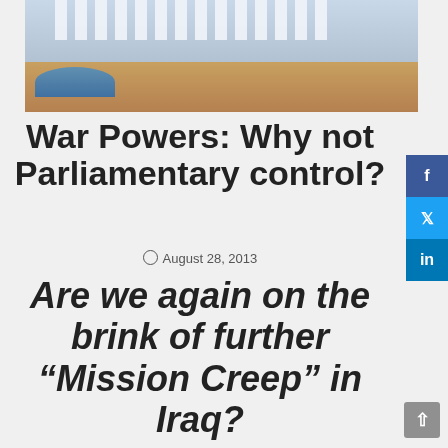[Figure (photo): Exterior view of a government/parliament building with columns and a circular fountain/pool in the foreground, brick/stone plaza]
War Powers: Why not Parliamentary control?
August 28, 2013
Are we again on the brink of further “Mission Creep” in Iraq?